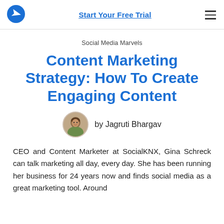Start Your Free Trial
Social Media Marvels
Content Marketing Strategy: How To Create Engaging Content
by Jagruti Bhargav
CEO and Content Marketer at SocialKNX, Gina Schreck can talk marketing all day, every day. She has been running her business for 24 years now and finds social media as a great marketing tool. Around